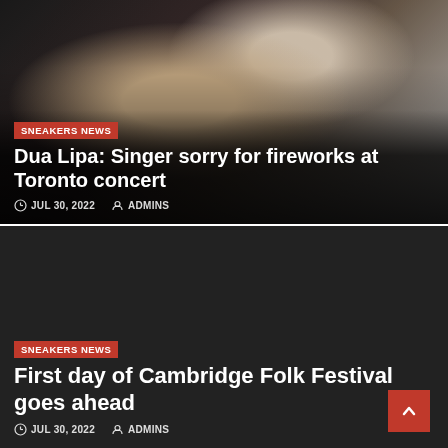[Figure (photo): Photo of Dua Lipa, woman with dark hair, against a decorative background. Card overlay with red badge, title, and metadata.]
Dua Lipa: Singer sorry for fireworks at Toronto concert
JUL 30, 2022  ADMINS
[Figure (photo): Dark background card for Cambridge Folk Festival article with red badge, title, and metadata.]
First day of Cambridge Folk Festival goes ahead
JUL 30, 2022  ADMINS